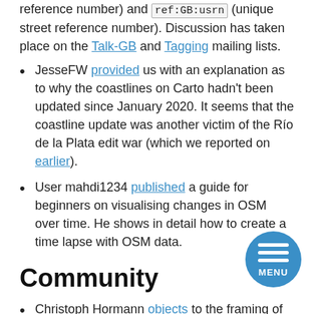reference number) and ref:GB:usrn (unique street reference number). Discussion has taken place on the Talk-GB and Tagging mailing lists.
JesseFW provided us with an explanation as to why the coastlines on Carto hadn't been updated since January 2020. It seems that the coastline update was another victim of the Río de la Plata edit war (which we reported on earlier).
User mahdi1234 published a guide for beginners on visualising changes in OSM over time. He shows in detail how to create a time lapse with OSM data.
Community
Christoph Hormann objects to the framing of craft mappers in OpenStreetMap as conservatives opposed to change. He feels that this is part of a new narrative being communicated in OSMF